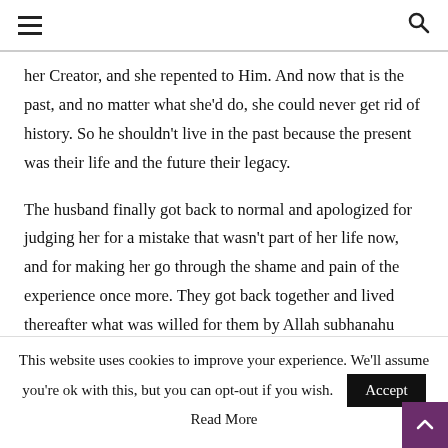≡  🔍
her Creator, and she repented to Him. And now that is the past, and no matter what she'd do, she could never get rid of history. So he shouldn't live in the past because the present was their life and the future their legacy.
The husband finally got back to normal and apologized for judging her for a mistake that wasn't part of her life now, and for making her go through the shame and pain of the experience once more. They got back together and lived thereafter what was willed for them by Allah subhanahu wataala.
This website uses cookies to improve your experience. We'll assume you're ok with this, but you can opt-out if you wish. Accept
Read More